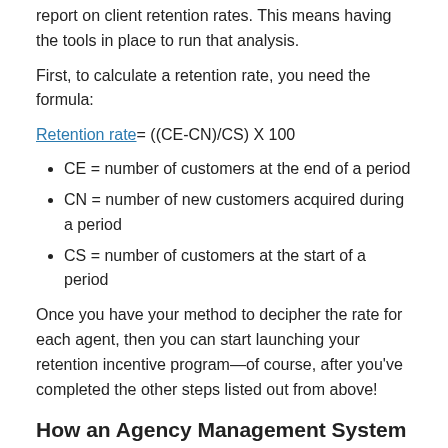report on client retention rates. This means having the tools in place to run that analysis.
First, to calculate a retention rate, you need the formula:
CE = number of customers at the end of a period
CN = number of new customers acquired during a period
CS = number of customers at the start of a period
Once you have your method to decipher the rate for each agent, then you can start launching your retention incentive program—of course, after you've completed the other steps listed out from above!
How an Agency Management System Helps Agents Increase Client Retention